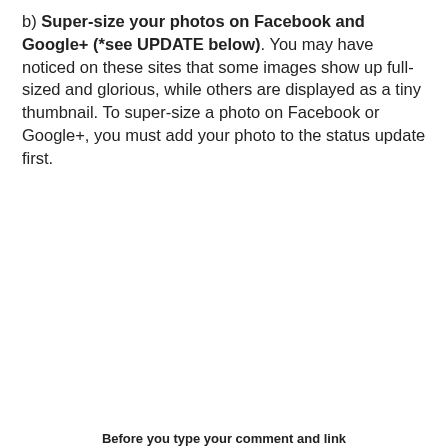b) Super-size your photos on Facebook and Google+ (*see UPDATE below). You may have noticed on these sites that some images show up full-sized and glorious, while others are displayed as a tiny thumbnail. To super-size a photo on Facebook or Google+, you must add your photo to the status update first.
[Figure (screenshot): Facebook status update composer showing Status, Photo/Video, Offer Event+ tabs with a red arrow pointing to Photo/Video tab, placeholder text 'What have you been up to?', and Post button.]
Before you type your comment and link